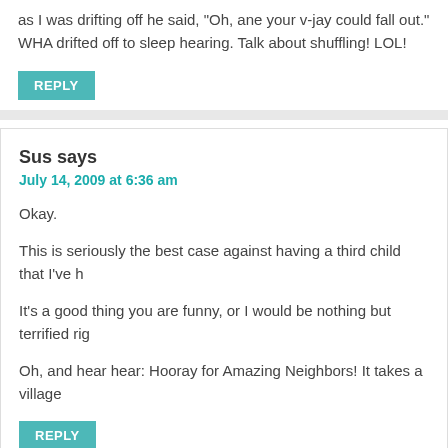as I was drifting off he said, "Oh, ane your v-jay could fall out." WHA drifted off to sleep hearing. Talk about shuffling! LOL!
REPLY
Sus says
July 14, 2009 at 6:36 am
Okay.
This is seriously the best case against having a third child that I've h
It's a good thing you are funny, or I would be nothing but terrified rig
Oh, and hear hear: Hooray for Amazing Neighbors! It takes a village
REPLY
Fairly Odd Mother says
July 14, 2009 at 11:09 am
Lest anyone think I'm one of those "calm under pressure" people, ju that it's easy to sound calm four years after a crisis. And, I think we